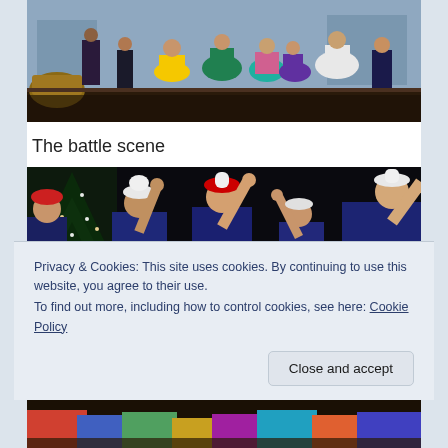[Figure (photo): Theater stage performance showing dancers in colorful costumes (yellow, green, teal, pink, white dresses) performing on stage with a painted backdrop]
The battle scene
[Figure (photo): Theater performers in dark blue military-style costumes with red and white feathered hats, arms raised, performing on a dark stage with a lit Christmas tree in the background]
Privacy & Cookies: This site uses cookies. By continuing to use this website, you agree to their use.
To find out more, including how to control cookies, see here: Cookie Policy
[Figure (photo): Partial view of performers at bottom of page in colorful costumes]